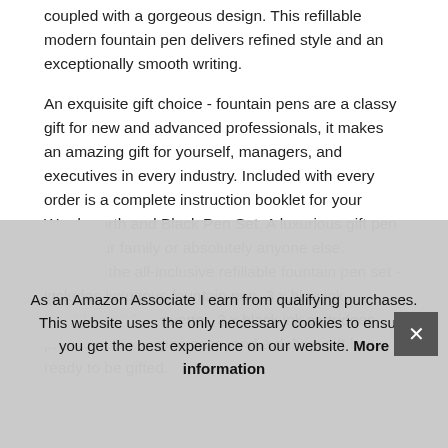coupled with a gorgeous design. This refillable modern fountain pen delivers refined style and an exceptionally smooth writing.
An exquisite gift choice - fountain pens are a classy gift for new and advanced professionals, it makes an amazing gift for yourself, managers, and executives in every industry. Included with every order is a complete instruction booklet for your Wordsworth and Black Pen Set. A luxurious gift pen case, your family or absolutely anyone else. Discover the all-inclusive refillable fountain pen set - includes luxurious fountain pen, 3 x blue ink cartridges, ink converter, 3 x black ink cartridges, premium leather pen case, and a deluxe gift box - ready to be gifted.
As an Amazon Associate I earn from qualifying purchases. This website uses the only necessary cookies to ensure you get the best experience on our website. More information